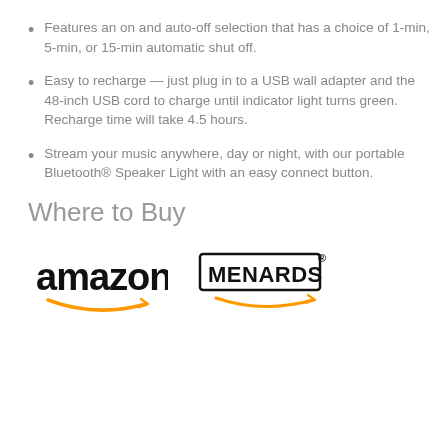Features an on and auto-off selection that has a choice of 1-min, 5-min, or 15-min automatic shut off.
Easy to recharge — just plug in to a USB wall adapter and the 48-inch USB cord to charge until indicator light turns green. Recharge time will take 4.5 hours.
Stream your music anywhere, day or night, with our portable Bluetooth® Speaker Light with an easy connect button.
Where to Buy
[Figure (logo): Amazon logo with orange arrow swoosh underneath]
[Figure (logo): Menards logo in bold black text with registered trademark symbol and orange swoosh underneath]